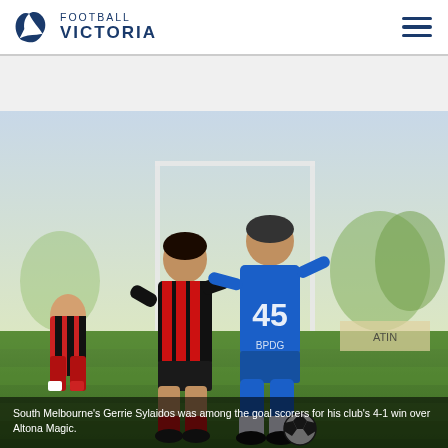FOOTBALL VICTORIA
[Figure (photo): Two soccer players in action — a player in a black and red striped jersey challenges a player wearing a blue jersey with number 45 and sponsor text 'BPDG', on a grass football pitch with goal posts and trees in the background.]
South Melbourne's Gerrie Sylaidos was among the goal scorers for his club's 4-1 win over Altona Magic.